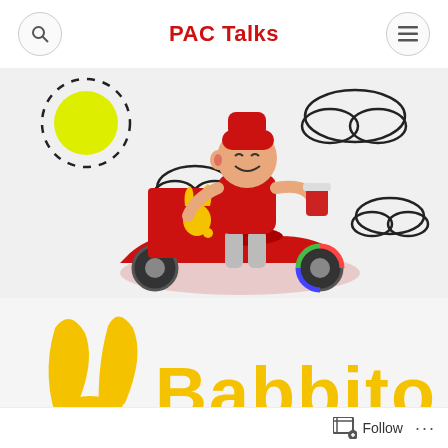PAC Talks
[Figure (illustration): Cartoon delivery person in red outfit and hat, smiling, holding a cup, standing next to a red scooter with a delivery box showing a yellow rabbit logo. Background shows sun and clouds on light grey.]
[Figure (logo): Babbito logo — large yellow rabbit ears graphic on the left and yellow stylized text reading 'Babbito' on white/light background.]
Follow ...